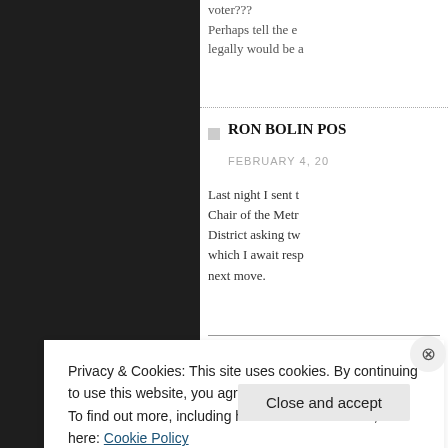voter???
Perhaps tell the e
legally would be a
RON BOLIN POS
FEBRUARY 4, 20
Last night I sent t
Chair of the Metr
District asking tw
which I await resp
next move.
Metro Vancouver
Privacy & Cookies: This site uses cookies. By continuing to use this website, you agree to their use.
To find out more, including how to control cookies, see here: Cookie Policy
Close and accept